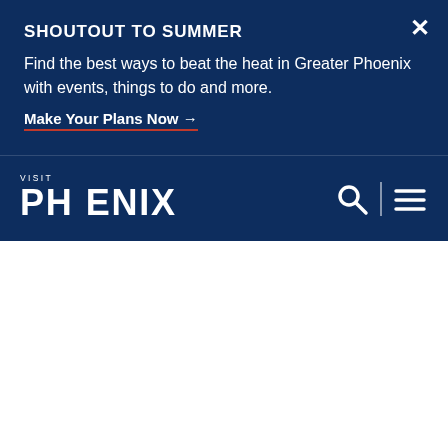SHOUTOUT TO SUMMER
Find the best ways to beat the heat in Greater Phoenix with events, things to do and more.
Make Your Plans Now →
[Figure (logo): Visit Phoenix logo — white text on dark navy background with search and menu icons]